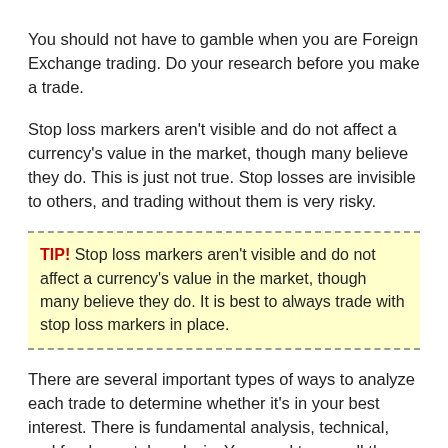You should not have to gamble when you are Foreign Exchange trading. Do your research before you make a trade.
Stop loss markers aren’t visible and do not affect a currency’s value in the market, though many believe they do. This is just not true. Stop losses are invisible to others, and trading without them is very risky.
TIP! Stop loss markers aren’t visible and do not affect a currency’s value in the market, though many believe they do. It is best to always trade with stop loss markers in place.
There are several important types of ways to analyze each trade to determine whether it’s in your best interest. There is fundamental analysis, technical, and fundamental analysis. You need to use all three for maximum results. As you progress in your forex trading, you will be more effective at juggling these various styles.